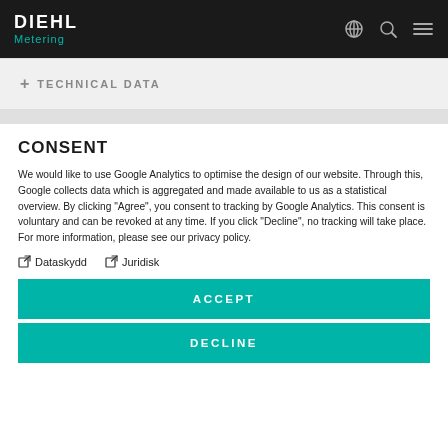DIEHL Metering
+ TECHNICAL DATA
CONSENT
We would like to use Google Analytics to optimise the design of our website. Through this, Google collects data which is aggregated and made available to us as a statistical overview. By clicking "Agree", you consent to tracking by Google Analytics. This consent is voluntary and can be revoked at any time. If you click "Decline", no tracking will take place. For more information, please see our privacy policy.
Dataskydd
Juridisk
ACCEPT
DECLINE